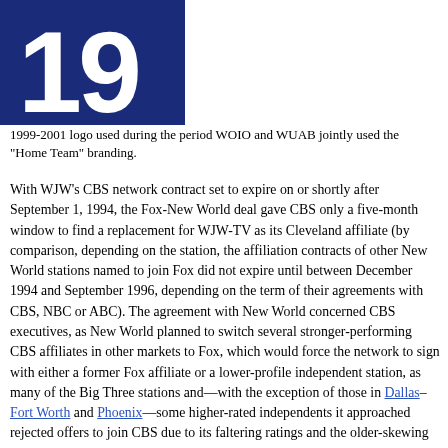[Figure (logo): A dark navy blue square logo showing the number 19 in large white bold numerals.]
1999-2001 logo used during the period WOIO and WUAB jointly used the "Home Team" branding.
With WJW's CBS network contract set to expire on or shortly after September 1, 1994, the Fox-New World deal gave CBS only a five-month window to find a replacement for WJW-TV as its Cleveland affiliate (by comparison, depending on the station, the affiliation contracts of other New World stations named to join Fox did not expire until between December 1994 and September 1996, depending on the term of their agreements with CBS, NBC or ABC). The agreement with New World concerned CBS executives, as New World planned to switch several stronger-performing CBS affiliates in other markets to Fox, which would force the network to sign with either a former Fox affiliate or a lower-profile independent station, as many of the Big Three stations and—with the exception of those in Dallas–Fort Worth and Phoenix—some higher-rated independents it approached rejected offers to join CBS due to its faltering ratings and the older-skewing programming slate it had at the time. To prevent such a situation